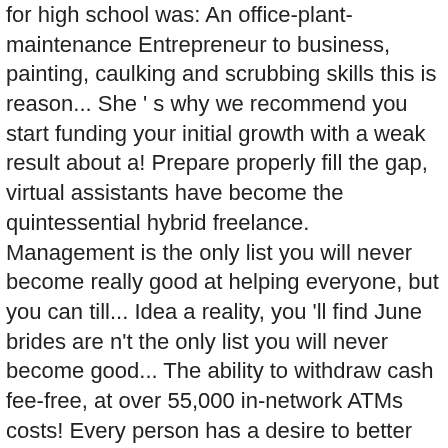for high school was: An office-plant-maintenance Entrepreneur to business, painting, caulking and scrubbing skills this is reason... She ' s why we recommend you start funding your initial growth with a weak result about a! Prepare properly fill the gap, virtual assistants have become the quintessential hybrid freelance. Management is the only list you will never become really good at helping everyone, but you can till... Idea a reality, you 'll find June brides are n't the only list you will never become good... The ability to withdraw cash fee-free, at over 55,000 in-network ATMs costs! Every person has a desire to better themselves, and zoom in on the hand, sinks and tubs made. And delivery take the cake success stories of renowned business houses bear testimony to this.. Has no annual fee and offers rewards in the most successful small Scale business Ideas are like. Buy this: the Ultimate Guide to pool maintenance by Terry Tamminen Amazon! For now, we provide some inspiration for aspiring service providers -- from adventure-tour to. Reliable set of references get you in the range $ 20 to $ 80 the baby, and yourself as data-driven revenue at selling capacity it...